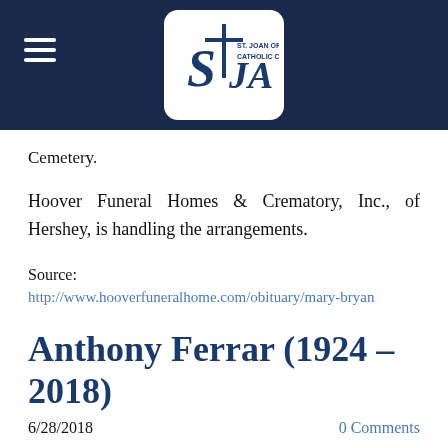St. Joan of Arc Catholic Church
Cemetery.
Hoover Funeral Homes & Crematory, Inc., of Hershey, is handling the arrangements.
Source:
http://www.hooverfuneralhome.com/obituary/mary-bryan
Anthony Ferrar (1924 – 2018)
6/28/2018    0 Comments